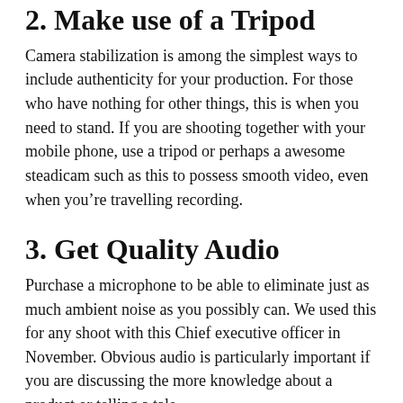2. Make use of a Tripod
Camera stabilization is among the simplest ways to include authenticity for your production. For those who have nothing for other things, this is when you need to stand. If you are shooting together with your mobile phone, use a tripod or perhaps a awesome steadicam such as this to possess smooth video, even when you’re travelling recording.
3. Get Quality Audio
Purchase a microphone to be able to eliminate just as much ambient noise as you possibly can. We used this for any shoot with this Chief executive officer in November. Obvious audio is particularly important if you are discussing the more knowledge about a product or telling a tale